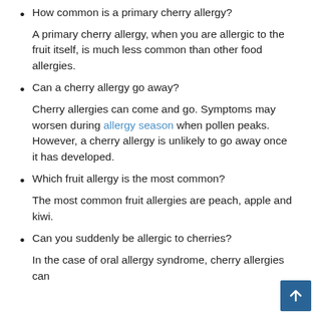How common is a primary cherry allergy?
A primary cherry allergy, when you are allergic to the fruit itself, is much less common than other food allergies.
Can a cherry allergy go away?
Cherry allergies can come and go. Symptoms may worsen during allergy season when pollen peaks. However, a cherry allergy is unlikely to go away once it has developed.
Which fruit allergy is the most common?
The most common fruit allergies are peach, apple and kiwi.
Can you suddenly be allergic to cherries?
In the case of oral allergy syndrome, cherry allergies can